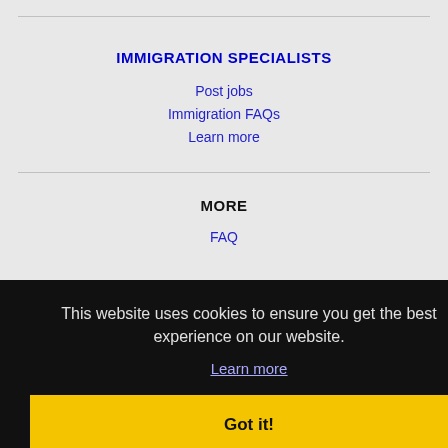IMMIGRATION SPECIALISTS
Post jobs
Immigration FAQs
Learn more
MORE
FAQ
This website uses cookies to ensure you get the best experience on our website.
Learn more
Got it!
Bloomington, IN Jobs